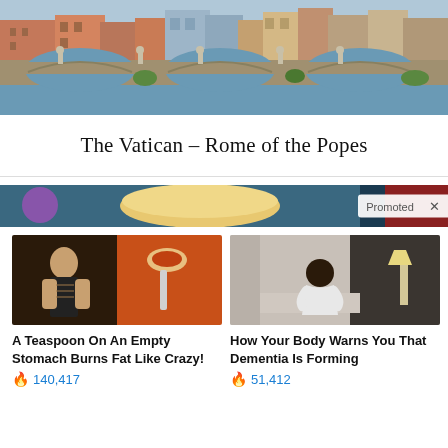[Figure (photo): Photo of the Sant'Angelo bridge in Rome with statues, arched bridge over a river, and colorful buildings in the background]
The Vatican – Rome of the Popes
[Figure (photo): Promoted banner image showing a bowl of soup/porridge and other food items with a 'Promoted X' overlay label]
[Figure (photo): Ad image showing a fit woman and a spoon with spices/powder for weight loss ad]
A Teaspoon On An Empty Stomach Burns Fat Like Crazy!
140,417
[Figure (photo): Ad image showing an elderly person sitting on a bed, hunched over, for dementia warning ad]
How Your Body Warns You That Dementia Is Forming
51,412